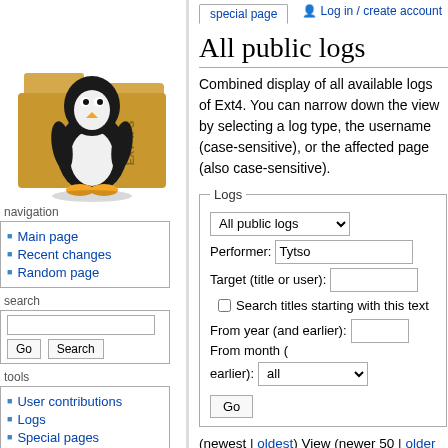Log in / create account
[Figure (illustration): Linux Tux penguin mascot standing in front of a yellow folder labeled EXT4FS]
navigation
Main page
Recent changes
Random page
search
tools
User contributions
Logs
Special pages
All public logs
Combined display of all available logs of Ext4. You can narrow down the view by selecting a log type, the username (case-sensitive), or the affected page (also case-sensitive).
Logs form with dropdown: All public logs, Performer: Tytso, Target (title or user), checkbox Search titles starting with this text, From year (and earlier), From month (and earlier): all, Go button
(newest | oldest) View (newer 50 | older 50) (20 | 50 | 100 | 250 | 500)
00:08, 3 October 2021 Tytso (Talk |